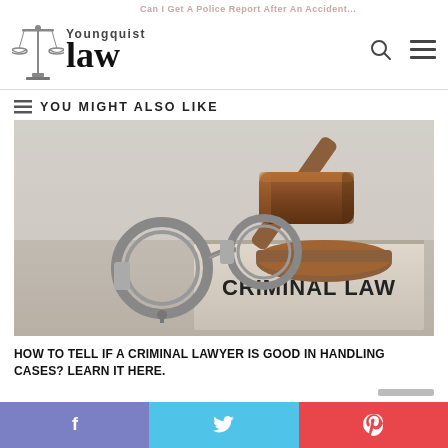Can I Get A Police Report After An Accident? — Youngquist Law
YOU MIGHT ALSO LIKE
[Figure (photo): A judge's wooden gavel resting on a sound block next to a pair of metal handcuffs on top of a book labeled CRIMINAL LAW]
HOW TO TELL IF A CRIMINAL LAWYER IS GOOD IN HANDLING CASES? LEARN IT HERE.
Facebook share | Twitter share | Pinterest share